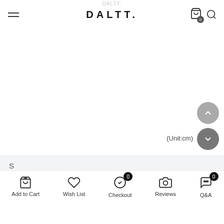DALTT.
(Unit:cm)
S
Add to Cart
Wish List
Checkout
Reviews
Q&A